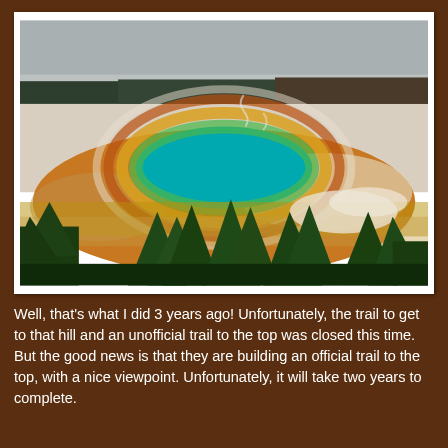[Figure (photo): Aerial view of Grand Prismatic Spring at Yellowstone National Park. The hot spring shows vivid concentric rings of color — a bright teal/blue center surrounded by rings of green, yellow, and orange microbial mats. The spring sits on a pale mineral flat. Pine forest and rolling hills are visible in the background under a hazy grey sky. Green pine trees fill the foreground.]
Well, that's what I did 3 years ago! Unfortunately, the trail to get to that hill and an unofficial trail to the top was closed this time. But the good news is that they are building an official trail to the top, with a nice viewpoint. Unfortunately, it will take two years to complete.